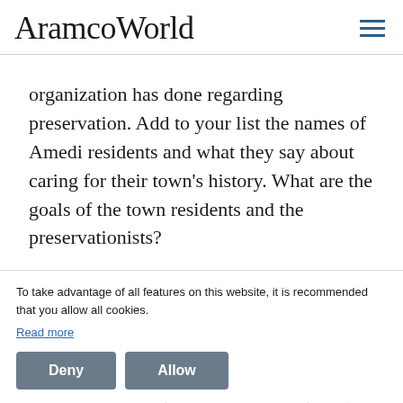AramcoWorld
organization has done regarding preservation. Add to your list the names of Amedi residents and what they say about caring for their town's history. What are the goals of the town residents and the preservationists?
A Policy Proposal
To take advantage of all features on this website, it is recommended that you allow all cookies.
Read more
Deny   Allow
Working with a group, take the role of a committee of Amedi residents who are concerned about preservation and quality of life. The goal of your meeting is to write a proposal for how the town should go forward regarding conservation and